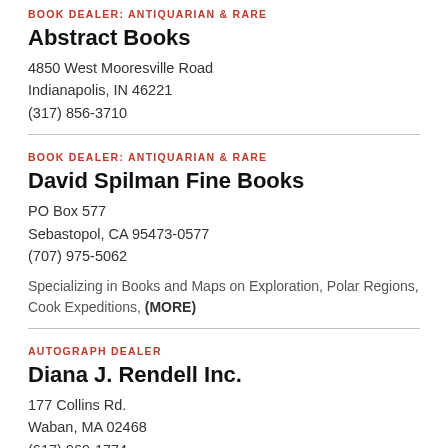BOOK DEALER: ANTIQUARIAN & RARE
Abstract Books
4850 West Mooresville Road
Indianapolis, IN 46221
(317) 856-3710
BOOK DEALER: ANTIQUARIAN & RARE
David Spilman Fine Books
PO Box 577
Sebastopol, CA 95473-0577
(707) 975-5062
Specializing in Books and Maps on Exploration, Polar Regions, Cook Expeditions, (MORE)
AUTOGRAPH DEALER
Diana J. Rendell Inc.
177 Collins Rd.
Waban, MA 02468
(617) 969-1774
Autographs & Manuscripts. Art, Literature, Music, Science, European Material, (MORE)